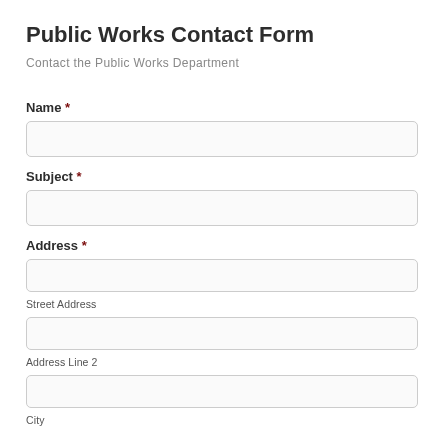Public Works Contact Form
Contact the Public Works Department
Name *
Subject *
Address *
Street Address
Address Line 2
City